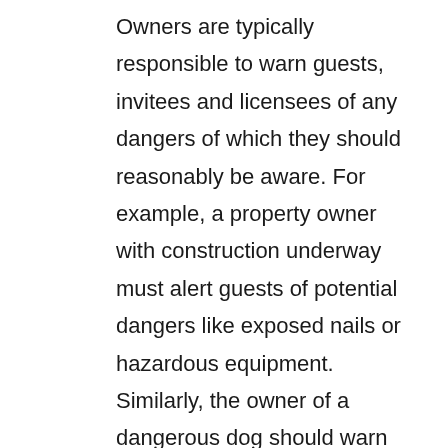Owners are typically responsible to warn guests, invitees and licensees of any dangers of which they should reasonably be aware. For example, a property owner with construction underway must alert guests of potential dangers like exposed nails or hazardous equipment. Similarly, the owner of a dangerous dog should warn visitors of the risk and employ measures to protect them.
When it comes to trespassers, this responsibility relaxes. While property owners can sometimes be liable for trespassers' injuries, they generally do not have the duty to keep their property safe for those entering without permission. Property owners should still take measures to maintain reasonable safety — particularly when it comes to